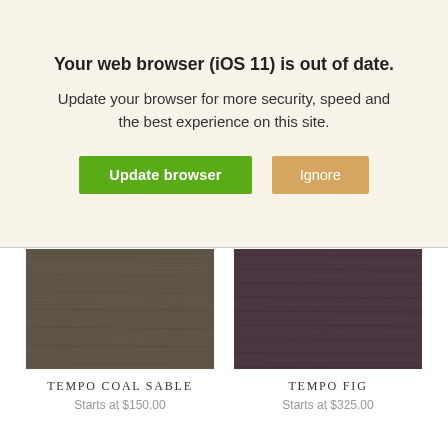Your web browser (iOS 11) is out of date. Update your browser for more security, speed and the best experience on this site.
[Figure (screenshot): Two buttons: 'Update browser' (green) and 'Ignore' (tan/gold)]
[Figure (photo): Tempo Coal Sable fabric swatch - dark brownish-gray wood grain texture]
TEMPO COAL SABLE
Starts at $150.00
[Figure (photo): Tempo Fig fabric swatch - dark purple-brown textured fabric]
TEMPO FIG
Starts at $325.00